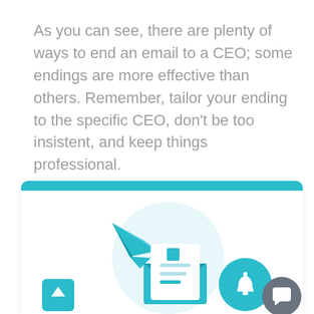As you can see, there are plenty of ways to end an email to a CEO; some endings are more effective than others. Remember, tailor your ending to the specific CEO, don't be too insistent, and keep things professional.
[Figure (illustration): An illustration inside a white card with a teal top bar, showing a paper airplane, a circular email/letter icon with an open envelope, a teal notification bell circle, a scroll-to-top button (teal square with up arrow), and a gray circular chat/smile button.]